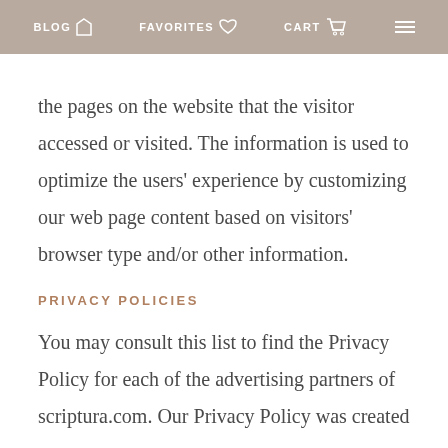BLOG  FAVORITES  CART
the pages on the website that the visitor accessed or visited. The information is used to optimize the users' experience by customizing our web page content based on visitors' browser type and/or other information.
PRIVACY POLICIES
You may consult this list to find the Privacy Policy for each of the advertising partners of scriptura.com. Our Privacy Policy was created